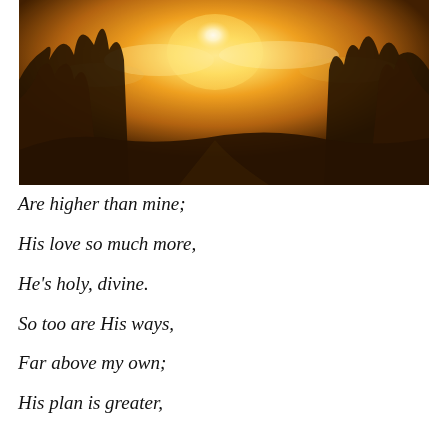[Figure (photo): A scenic outdoor photograph showing a bright sunburst or sunrise/sunset light breaking through trees or foliage, with warm golden and amber tones illuminating clouds and landscape silhouettes.]
Are higher than mine;
His love so much more,
He's holy, divine.
So too are His ways,
Far above my own;
His plan is greater,